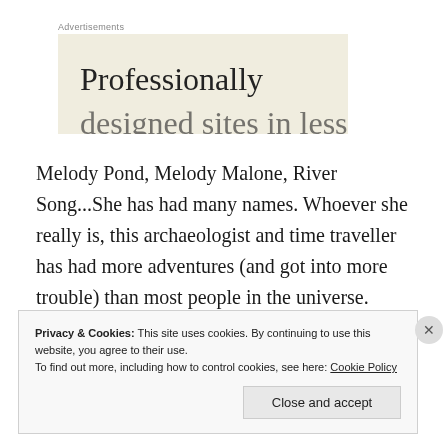Advertisements
[Figure (other): Advertisement banner with beige/cream background showing text 'Professionally' and partially visible second line 'designed sites in less']
Melody Pond, Melody Malone, River Song...She has had many names. Whoever she really is, this archaeologist and time traveller has had more adventures (and got into more trouble) than most people in the universe.
Privacy & Cookies: This site uses cookies. By continuing to use this website, you agree to their use.
To find out more, including how to control cookies, see here: Cookie Policy
Close and accept